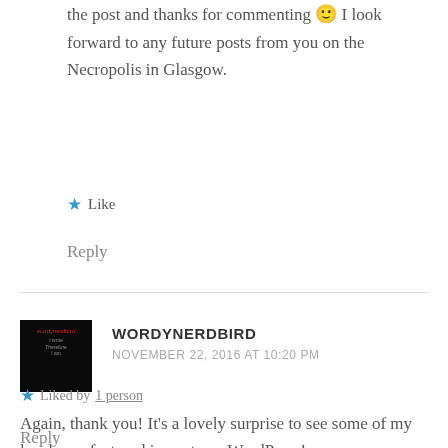the post and thanks for commenting 🙂 I look forward to any future posts from you on the Necropolis in Glasgow.
★ Like
Reply
WORDYNERDBIRD
NOVEMBER 22, 2016 AT 10:20 PM
Again, thank you! It's a lovely surprise to see some of my local area featured in posts on WordPress!
★ Liked by 1 person
Reply